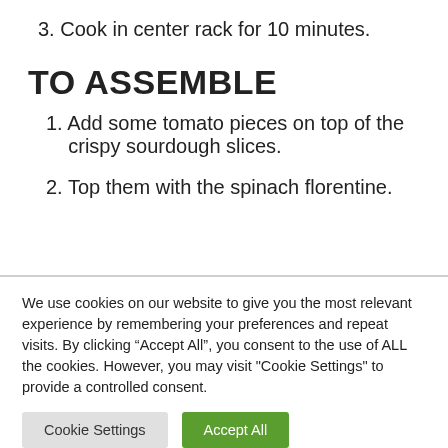3. Cook in center rack for 10 minutes.
TO ASSEMBLE
1. Add some tomato pieces on top of the crispy sourdough slices.
2. Top them with the spinach florentine.
We use cookies on our website to give you the most relevant experience by remembering your preferences and repeat visits. By clicking “Accept All”, you consent to the use of ALL the cookies. However, you may visit "Cookie Settings" to provide a controlled consent.
Cookie Settings | Accept All